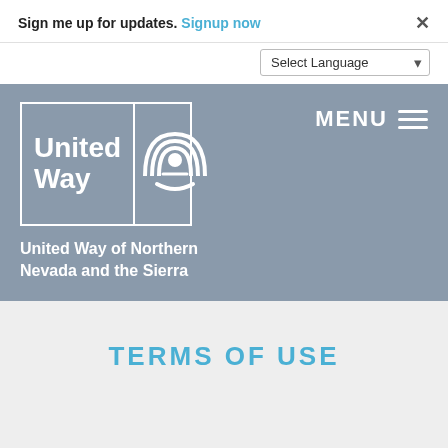Sign me up for updates. Signup now ×
Select Language
[Figure (logo): United Way logo with text 'United Way' on left and rainbow/hand symbol on right, white on grey background]
United Way of Northern Nevada and the Sierra
TERMS OF USE